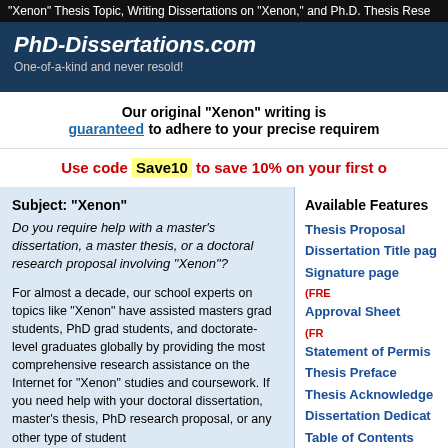"Xenon" Thesis Topic, Writing Dissertations on "Xenon," and Ph.D. Thesis Rese
PhD-Dissertations.com
One-of-a-kind and never resold!
Our original "Xenon" writing is guaranteed to adhere to your precise requirements
Use code Save10 to save 10% on your first o
Subject:  "Xenon"
Do you require help with a master's dissertation, a master thesis, or a doctoral research proposal involving "Xenon"?
For almost a decade, our school experts on topics like "Xenon" have assisted masters grad students, PhD grad students, and doctorate-level graduates globally by providing the most comprehensive research assistance on the Internet for "Xenon" studies and coursework.  If you need help with your doctoral dissertation, master's thesis, PhD research proposal, or any other type of student
Available Features
Thesis Proposal
Dissertation Title page
Signature page  (FREE)
Approval Sheet  (FREE)
Statement of Permission
Thesis Preface
Thesis Acknowledgements
Dissertation Dedication
Table of Contents
Thesis List of Tables
List of Symbols and
Abstract
Thesis Synopsis